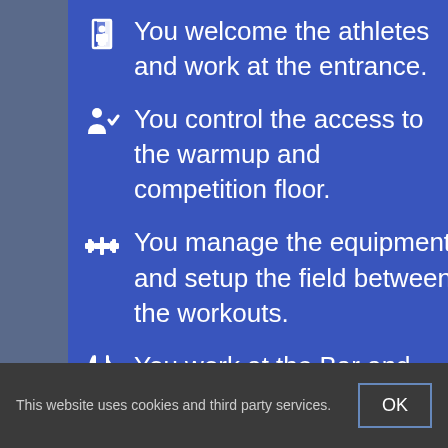You welcome the athletes and work at the entrance.
You control the access to the warmup and competition floor.
You manage the equipment and setup the field between the workouts.
You work at the Bar and Food area.
This website uses cookies and third party services.